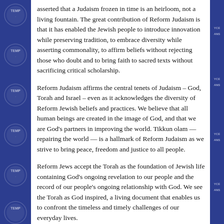asserted that a Judaism frozen in time is an heirloom, not a living fountain. The great contribution of Reform Judaism is that it has enabled the Jewish people to introduce innovation while preserving tradition, to embrace diversity while asserting commonality, to affirm beliefs without rejecting those who doubt and to bring faith to sacred texts without sacrificing critical scholarship.
Reform Judaism affirms the central tenets of Judaism – God, Torah and Israel – even as it acknowledges the diversity of Reform Jewish beliefs and practices. We believe that all human beings are created in the image of God, and that we are God's partners in improving the world. Tikkun olam — repairing the world — is a hallmark of Reform Judaism as we strive to bring peace, freedom and justice to all people.
Reform Jews accept the Torah as the foundation of Jewish life containing God's ongoing revelation to our people and the record of our people's ongoing relationship with God. We see the Torah as God inspired, a living document that enables us to confront the timeless and timely challenges of our everyday lives.
In addition to our belief that Judaism must change and adapt to the